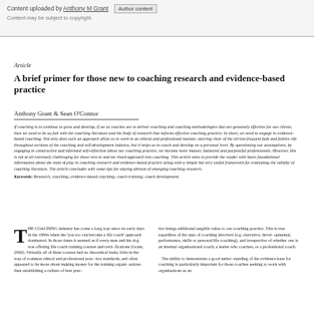Content uploaded by Anthony M Grant  Author content
Content may be subject to copyright.
Article
A brief primer for those new to coaching research and evidence-based practice
Anthony Grant & Sean O'Connor
If coaching is to continue to grow and develop, if we as coaches are to deliver coaching and coaching methodologies that are genuinely effective for our clients, then we need to be au fait with the coaching literature and the body of research that informs effective coaching practice. In short, we need to engage in evidence-based coaching. Not only does such an approach allow us to work in an ethical and professional manner, steering clear of the all-too-frequent fads and foibles rife throughout sections of the coaching and self-development industry, but it helps us to coach and develop on a personal level. By questioning our assumptions, by engaging in constructive and informed self-reflection about our coaching practice, we become more mature, balanced and purposeful professionals. However, this is not at all extremely challenging for those new to and me rhard approach into coaching. This article aims to provide the reader with basic foundational information about the state of play in coaching research and evidence-based practice along with a simple but very useful framework for evaluating the validity of coaching literature. The article concludes with some tips for staying abreast of emerging coaching research.
Keywords: Research; coaching; evidence-based coaching; coach training; coach development.
THE COACHING industry has come a long way since its early days in the 1990s when the 'you too can become a life coach' approach dominated. In those times it seemed as if every man and his dog was offering life coach training courses and certifications (Grant, 2006). Virtually all of these courses had no theoretical basis, little in the way of commonethical and professional practice standards, and often appeared to be more about making money for the training organisation than establishing a culture of best prac-
tice brings additional tangible value to our coaching practice. This is true regardless of the type of coaching involved (e.g. executive, developmental, performance, skills or personal/life coaching), and irrespective of whether one is an internal organisational coach, a leader who coaches, or a professional coach.

The ability to demonstrate a good understanding of the evidence-base for coaching is particularly important for those coaches seeking to work with organisations as an